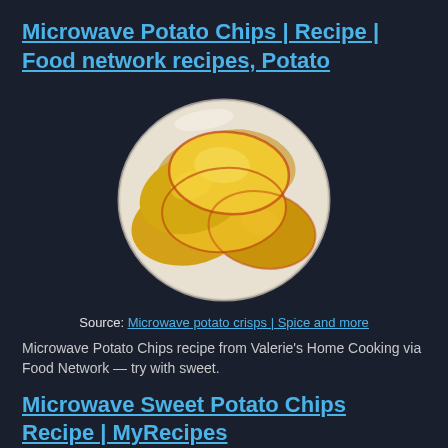Microwave Potato Chips | Recipe | Food network recipes, Potato
[Figure (photo): Photo of golden yellow microwave potato chips piled on a white plate, close-up view]
Source: Microwave potato crisps | Spice and more
Microwave Potato Chips recipe from Valerie's Home Cooking via Food Network — try with sweet.
Microwave Sweet Potato Chips Recipe | MyRecipes